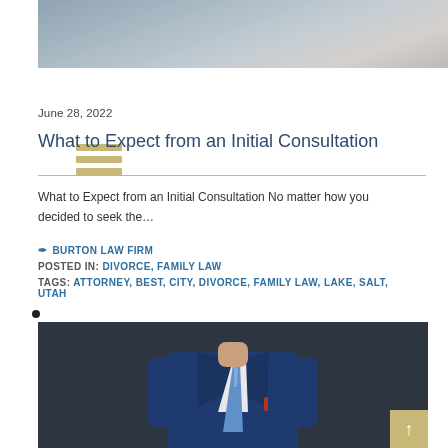[Figure (photo): Top portion of a photo showing a person in business attire, partially cropped]
June 28, 2022
What to Expect from an Initial Consultation
What to Expect from an Initial Consultation No matter how you decided to seek the…
BURTON LAW FIRM
POSTED IN: DIVORCE, FAMILY LAW
TAGS: ATTORNEY, BEST, CITY, DIVORCE, FAMILY LAW, LAKE, SALT, UTAH
[Figure (photo): Photo of a man in a navy blue suit with a blue tie and red pocket square, torso only visible]